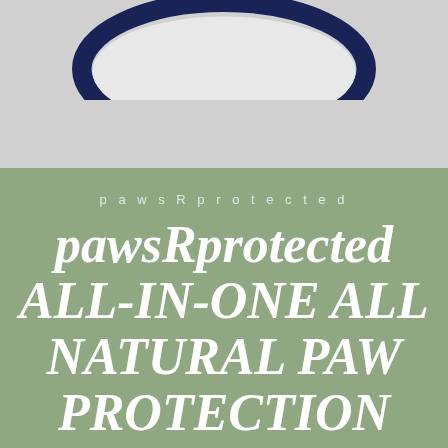[Figure (photo): Top portion of a round navy-blue rimmed bowl or tin container photographed from above on a light gray background, showing the circular dark blue rim against the neutral background.]
pawsRprotected
pawsRprotected ALL-IN-ONE ALL NATURAL PAW PROTECTION BALM
$21.99  $28.99
Shipping calculated at checkout.